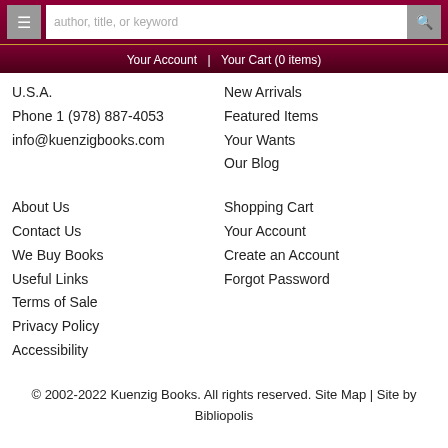≡  [search: author, title, or keyword]  🔍
Your Account | Your Cart (0 items)
U.S.A.
Phone 1 (978) 887-4053
info@kuenzigbooks.com
New Arrivals
Featured Items
Your Wants
Our Blog
About Us
Contact Us
We Buy Books
Useful Links
Terms of Sale
Privacy Policy
Accessibility
Shopping Cart
Your Account
Create an Account
Forgot Password
© 2002-2022 Kuenzig Books. All rights reserved. Site Map | Site by Bibliopolis